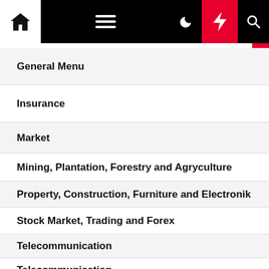Navigation menu screenshot with home, hamburger, moon, bolt, and search icons
General Menu
Insurance
Market
Mining, Plantation, Forestry and Agryculture
Property, Construction, Furniture and Electronik
Stock Market, Trading and Forex
Telecommunication
Telecommunication
Transportation and Ekspedisi